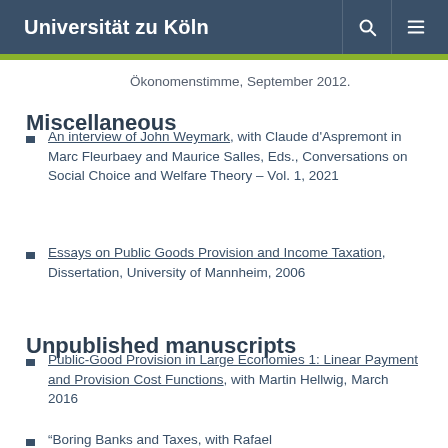Universität zu Köln
Ökonomenstimme, September 2012.
Miscellaneous
An interview of John Weymark, with Claude d'Aspremont in Marc Fleurbaey and Maurice Salles, Eds., Conversations on Social Choice and Welfare Theory – Vol. 1, 2021
Essays on Public Goods Provision and Income Taxation, Dissertation, University of Mannheim, 2006
Unpublished manuscripts
Public-Good Provision in Large Economies 1: Linear Payment and Provision Cost Functions, with Martin Hellwig, March 2016
"Boring Banks and Taxes, with Rafael